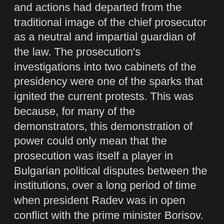and actions had departed from the traditional image of the chief prosecutor as a neutral and impartial guardian of the law. The prosecution's investigations into two cabinets of the presidency were one of the sparks that ignited the current protests. This was because, for many of the demonstrators, this demonstration of power could only mean that the prosecution was itself a player in Bulgarian political disputes between the institutions, over a long period of time when president Radev was in open conflict with the prime minister Borisov. The office of the prosecutor had thereby turned into a political player with formidable discretionary power. An alternative anti-corruption formula was duly advanced by the community of the Facebook page and site Initiative "Justice for All" , which